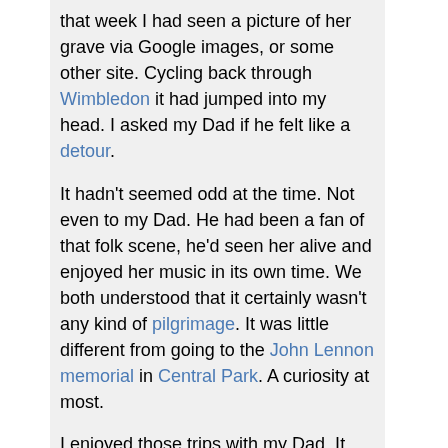that week I had seen a picture of her grave via Google images, or some other site. Cycling back through Wimbledon it had jumped into my head. I asked my Dad if he felt like a detour.
It hadn't seemed odd at the time. Not even to my Dad. He had been a fan of that folk scene, he'd seen her alive and enjoyed her music in its own time. We both understood that it certainly wasn't any kind of pilgrimage. It was little different from going to the John Lennon memorial in Central Park. A curiosity at most.
I enjoyed those trips with my Dad. It seems odd to call following a back wheel around the streets of London